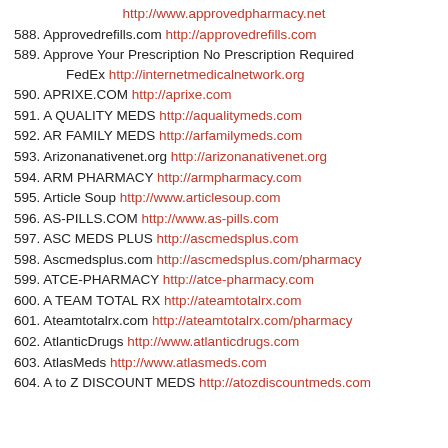http://www.approvedpharmacy.net
588. Approvedrefills.com http://approvedrefills.com
589. Approve Your Prescription No Prescription Required FedEx http://internetmedicalnetwork.org
590. APRIXE.COM http://aprixe.com
591. A QUALITY MEDS http://aqualitymeds.com
592. AR FAMILY MEDS http://arfamilymeds.com
593. Arizonanativenet.org http://arizonanativenet.org
594. ARM PHARMACY http://armpharmacy.com
595. Article Soup http://www.articlesoup.com
596. AS-PILLS.COM http://www.as-pills.com
597. ASC MEDS PLUS http://ascmedsplus.com
598. Ascmedsplus.com http://ascmedsplus.com/pharmacy
599. ATCE-PHARMACY http://atce-pharmacy.com
600. A TEAM TOTAL RX http://ateamtotalrx.com
601. Ateamtotalrx.com http://ateamtotalrx.com/pharmacy
602. AtlanticDrugs http://www.atlanticdrugs.com
603. AtlasMeds http://www.atlasmeds.com
604. A to Z DISCOUNT MEDS http://atozdiscountmeds.com